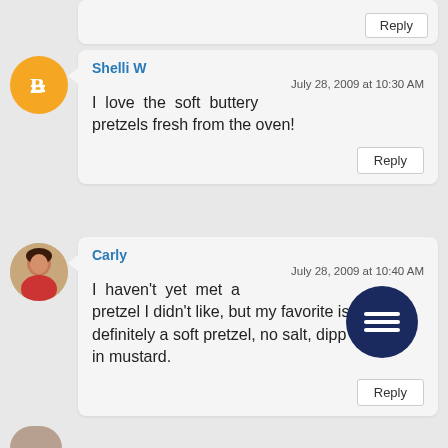Reply (partial top comment, clipped)
Shelli W
July 28, 2009 at 10:30 AM
I love the soft buttery pretzels fresh from the oven!
Reply
Carly
July 28, 2009 at 10:40 AM
I haven't yet met a pretzel I didn't like, but my favorite is definitely a soft pretzel, no salt, dipped in mustard.
Reply